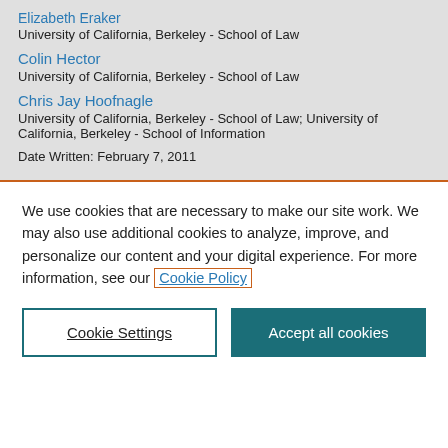Elizabeth Eraker
University of California, Berkeley - School of Law
Colin Hector
University of California, Berkeley - School of Law
Chris Jay Hoofnagle
University of California, Berkeley - School of Law; University of California, Berkeley - School of Information
Date Written: February 7, 2011
We use cookies that are necessary to make our site work. We may also use additional cookies to analyze, improve, and personalize our content and your digital experience. For more information, see our Cookie Policy
Cookie Settings
Accept all cookies